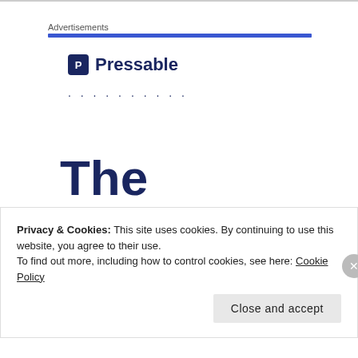Advertisements
[Figure (logo): Pressable logo with dark blue square P icon and 'Pressable' text]
The Platform Where WordP...
Privacy & Cookies: This site uses cookies. By continuing to use this website, you agree to their use.
To find out more, including how to control cookies, see here: Cookie Policy
Close and accept